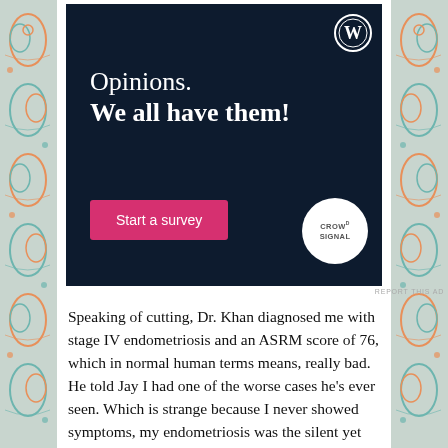[Figure (screenshot): Advertisement banner with dark navy background. Shows WordPress logo in top right corner, text 'Opinions. We all have them!' in white, a pink 'Start a survey' button, and a Crowdsignal circular logo on the right. Below the banner is a 'REPORT THIS AD' link.]
Speaking of cutting, Dr. Khan diagnosed me with stage IV endometriosis and an ASRM score of 76, which in normal human terms means, really bad. He told Jay I had one of the worse cases he's ever seen. Which is strange because I never showed symptoms, my endometriosis was the silent yet naughty kind. He removed endo from my pelvic cavity, abdominal cavity, colon, rectum, ligaments, ovaries, uterus, and a whole lot of other spots too.